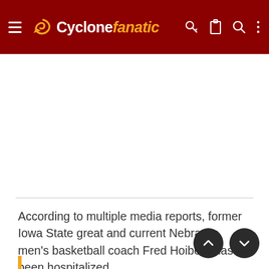Cyclone fanatic
[Figure (other): Advertisement placeholder white space]
According to multiple media reports, former Iowa State great and current Nebraska men's basketball coach Fred Hoiberg has been hospitalized.